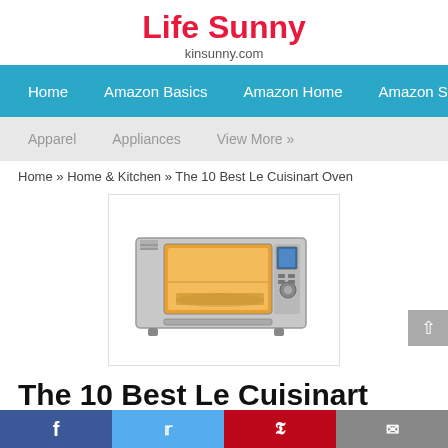Life Sunny
kinsunny.com
Home   Amazon Basics   Amazon Home   Amazon SMP
Apparel   Appliances   View More »
Home » Home & Kitchen » The 10 Best Le Cuisinart Oven
[Figure (photo): A stainless steel countertop toaster oven (Cuisinart style) with glass door showing interior lit with warm light, digital display panel on the right side.]
The 10 Best Le Cuisinart Oven